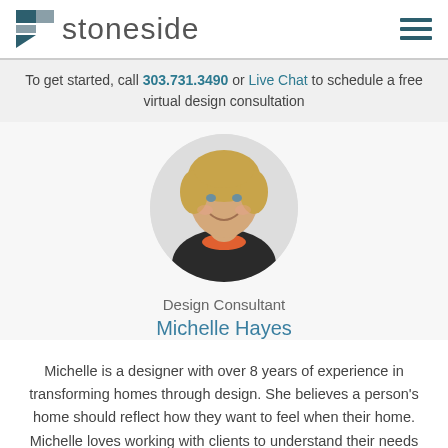[Figure (logo): Stoneside logo with teal/grey geometric icon and the word 'stoneside' in light grey]
To get started, call 303.731.3490 or Live Chat to schedule a free virtual design consultation
[Figure (photo): Circular headshot photo of Michelle Hayes, a woman with blonde wavy hair, smiling, wearing a dark jacket and orange necklace]
Design Consultant
Michelle Hayes
Michelle is a designer with over 8 years of experience in transforming homes through design. She believes a person's home should reflect how they want to feel when their home. Michelle loves working with clients to understand their needs and create solutions that meet both the functional needs and provide a great